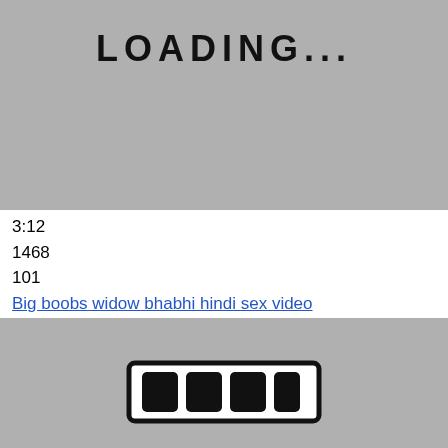[Figure (illustration): Gray loading screen placeholder with hand-drawn 'LOADING...' text at the top]
3:12
1468
101
Big boobs widow bhabhi hindi sex video
[Figure (illustration): Gray loading screen placeholder with hand-drawn loading bar graphic (rectangle with 4 filled blocks) and 'LOADING...' text below]